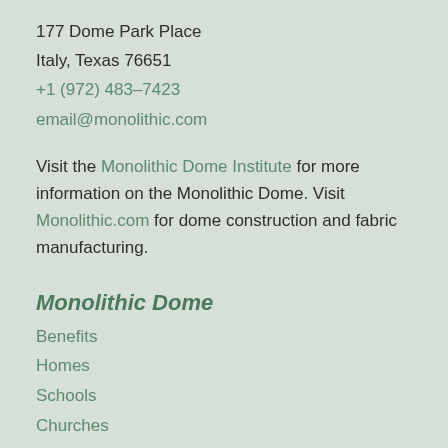177 Dome Park Place
Italy, Texas 76651
+1 (972) 483-7423
email@monolithic.com
Visit the Monolithic Dome Institute for more information on the Monolithic Dome. Visit Monolithic.com for dome construction and fabric manufacturing.
Monolithic Dome
Benefits
Homes
Schools
Churches
Storages
Sports
Commercial